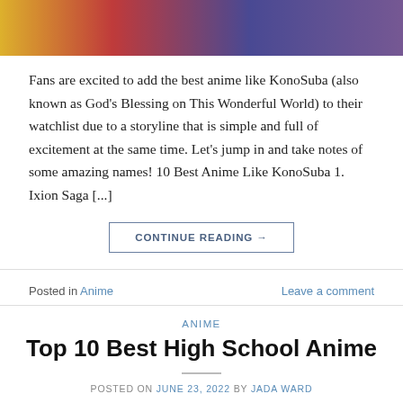[Figure (illustration): Cropped anime illustration showing colorful characters with yellow, red, and purple/blue tones]
Fans are excited to add the best anime like KonoSuba (also known as God's Blessing on This Wonderful World) to their watchlist due to a storyline that is simple and full of excitement at the same time. Let's jump in and take notes of some amazing names! 10 Best Anime Like KonoSuba 1. Ixion Saga [...]
CONTINUE READING →
Posted in Anime    Leave a comment
ANIME
Top 10 Best High School Anime
POSTED ON JUNE 23, 2022 BY JADA WARD